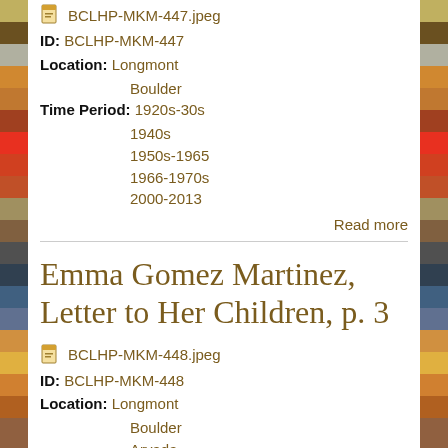BCLHP-MKM-447.jpeg
ID: BCLHP-MKM-447
Location: Longmont
Boulder
Time Period: 1920s-30s
1940s
1950s-1965
1966-1970s
2000-2013
Read more
Emma Gomez Martinez, Letter to Her Children, p. 3
BCLHP-MKM-448.jpeg
ID: BCLHP-MKM-448
Location: Longmont
Boulder
Arvada
Time Period: 1920s-30s